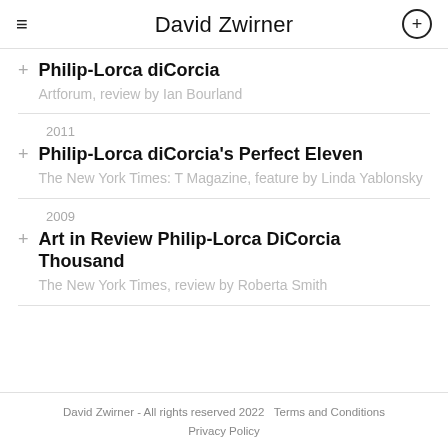David Zwirner
Philip-Lorca diCorcia
Artforum, review by Ian Bourland
2011
Philip-Lorca diCorcia's Perfect Eleven
The New York Times: T Magazine, feature by Linda Yablonsky
2009
Art in Review Philip-Lorca DiCorcia Thousand
The New York Times, review by Roberta Smith
David Zwirner - All rights reserved 2022    Terms and Conditions
Privacy Policy